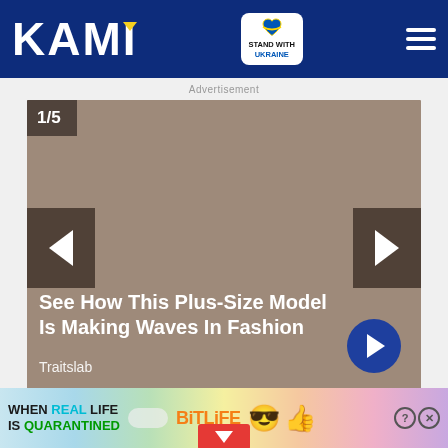KAMI
[Figure (screenshot): KAMI website header with logo, Stand with Ukraine badge, and hamburger menu on dark blue background]
Advertisement
[Figure (photo): Slideshow widget showing slide 1 of 5 with brownish-gray background, left/right navigation arrows, title 'See How This Plus-Size Model Is Making Waves In Fashion', source 'Traitslab', and a blue circle next arrow button]
As reported earlier by KAMI, Kris Aquino went viral when she wiped Willie Revillam eat during their TV